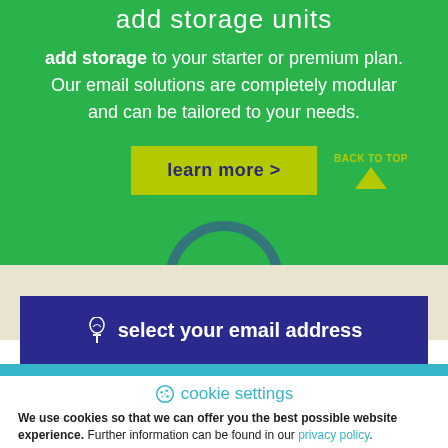add storage units
add storage to your starter or premium plan. Our email solutions are completely modular and can be tailored to your needs.
learn more >
BACK TO TOP
select your email address
cookie settings
We use cookies so that we can offer you the best possible website experience. Further information can be found in our privacy policy.
change cookie selection
accept all and continue